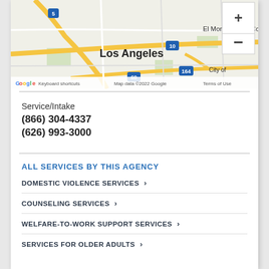[Figure (map): Google Maps view showing Los Angeles area with highways 5, 10, 60, 164, El Monte label, City of label, zoom controls, Google logo, keyboard shortcuts, Map data ©2022 Google, Terms of Use]
Service/Intake
(866) 304-4337
(626) 993-3000
ALL SERVICES BY THIS AGENCY
DOMESTIC VIOLENCE SERVICES
COUNSELING SERVICES
WELFARE-TO-WORK SUPPORT SERVICES
SERVICES FOR OLDER ADULTS